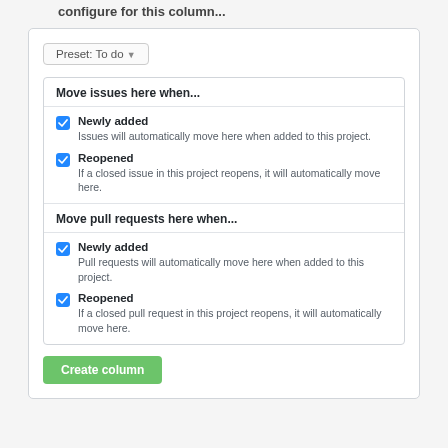configure for this column...
[Figure (screenshot): A UI configuration panel with a 'Preset: To do' dropdown, two sections: 'Move issues here when...' with checkboxes for 'Newly added' and 'Reopened', and 'Move pull requests here when...' with checkboxes for 'Newly added' and 'Reopened'. A 'Create column' button at the bottom.]